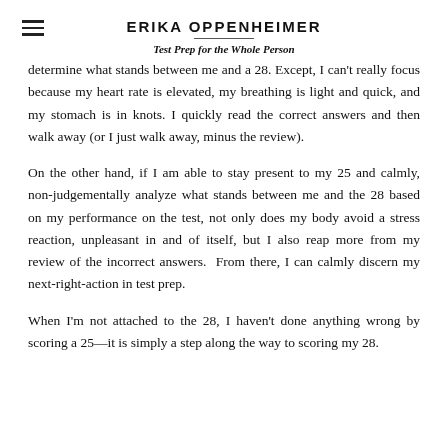ERIKA OPPENHEIMER
Test Prep for the Whole Person
determine what stands between me and a 28. Except, I can't really focus because my heart rate is elevated, my breathing is light and quick, and my stomach is in knots. I quickly read the correct answers and then walk away (or I just walk away, minus the review).
On the other hand, if I am able to stay present to my 25 and calmly, non-judgementally analyze what stands between me and the 28 based on my performance on the test, not only does my body avoid a stress reaction, unpleasant in and of itself, but I also reap more from my review of the incorrect answers.  From there, I can calmly discern my next-right-action in test prep.
When I'm not attached to the 28, I haven't done anything wrong by scoring a 25—it is simply a step along the way to scoring my 28.